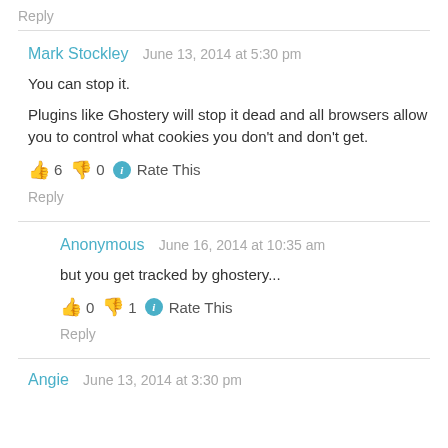Reply
Mark Stockley   June 13, 2014 at 5:30 pm
You can stop it.

Plugins like Ghostery will stop it dead and all browsers allow you to control what cookies you don't and don't get.
👍 6 👎 0 ℹ Rate This
Reply
Anonymous   June 16, 2014 at 10:35 am
but you get tracked by ghostery...
👍 0 👎 1 ℹ Rate This
Reply
Angie   June 13, 2014 at 3:30 pm